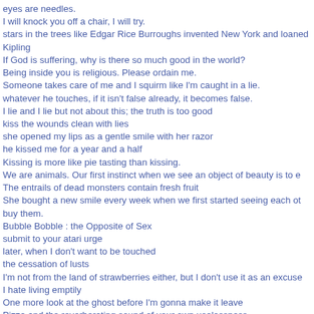eyes are needles.
I will knock you off a chair, I will try.
stars in the trees like Edgar Rice Burroughs invented New York and loaned
Kipling
If God is suffering, why is there so much good in the world?
Being inside you is religious. Please ordain me.
Someone takes care of me and I squirm like I'm caught in a lie.
whatever he touches, if it isn't false already, it becomes false.
I lie and I lie but not about this; the truth is too good
kiss the wounds clean with lies
she opened my lips as a gentle smile with her razor
he kissed me for a year and a half
Kissing is more like pie tasting than kissing.
We are animals. Our first instinct when we see an object of beauty is to e
The entrails of dead monsters contain fresh fruit
She bought a new smile every week when we first started seeing each ot
buy them.
Bubble Bobble : the Opposite of Sex
submit to your atari urge
later, when I don't want to be touched
the cessation of lusts
I'm not from the land of strawberries either, but I don't use it as an excuse
I hate living emptily
One more look at the ghost before I'm gonna make it leave
Pizza and the reverberating sound of your own uselessness.
I'm exhausted. Anyone with the balls to kill me can have all my stuff.
We're blind. We're mortal. We don't know what the hell we're doing.
So there is death in my voice; what of it?
James, get away from the ledge, philosophy isn't worth it!
From now on, any ordinary knowledge is no longer going to satisfy you, I'
The chances of a poet reaching us are very slim.
You're all poets. Stop pretending you're not. Give me a new word to use